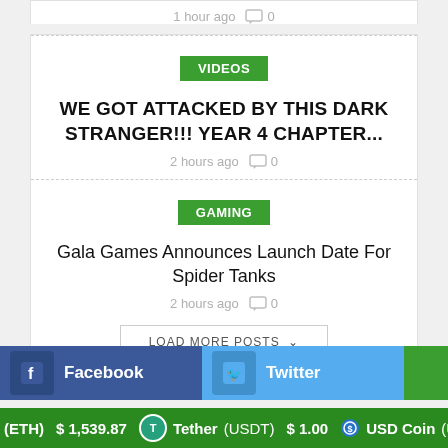1 hour ago  💬 0
VIDEOS
WE GOT ATTACKED BY THIS DARK STRANGER!!! YEAR 4 CHAPTER...
2 hours ago  💬 0
GAMING
Gala Games Announces Launch Date For Spider Tanks
2 hours ago  💬 0
LOAD MORE POSTS ˅
Facebook   Twitter
(ETH) $1,539.87   Tether (USDT) $1.00   USD Coin (USDC) $